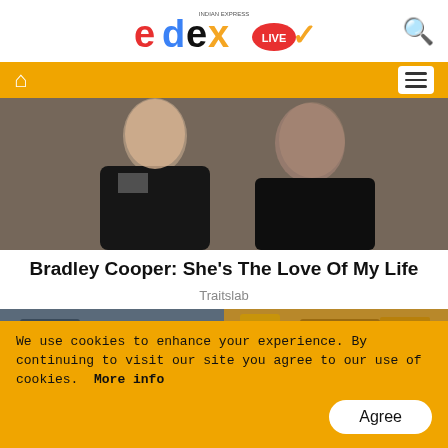edexLIVE - Indian Express
[Figure (photo): Bradley Cooper and a woman posing together, both wearing dark clothing]
Bradley Cooper: She's The Love Of My Life
Traitslab
[Figure (photo): A scene from what appears to be a movie or TV show, interior setting]
We use cookies to enhance your experience. By continuing to visit our site you agree to our use of cookies. More info